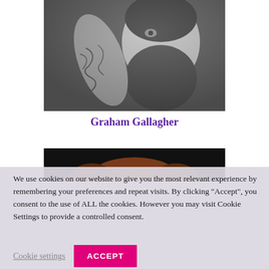[Figure (photo): Black and white portrait photo of a bearded man with tattoos on his arm]
Graham Gallagher
[Figure (photo): Partial view of another person's photo, mostly obscured by cookie banner]
We use cookies on our website to give you the most relevant experience by remembering your preferences and repeat visits. By clicking "Accept", you consent to the use of ALL the cookies. However you may visit Cookie Settings to provide a controlled consent.
Cookie settings    ACCEPT